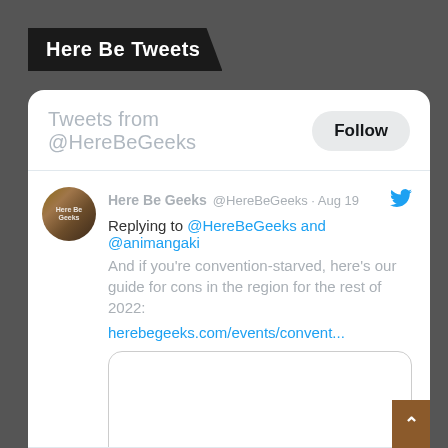Here Be Tweets
Tweets from @HereBeGeeks
Follow
Here Be Geeks @HereBeGeeks · Aug 19
Replying to @HereBeGeeks and @animangaki
And if you're convention-starved, here's our guide for cons in the region for the rest of 2022:
herebegeeks.com/events/convent...
[Figure (screenshot): Link preview card with rounded border, empty/blank content area]